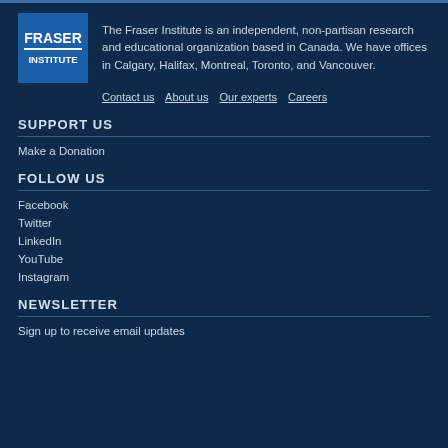[Figure (logo): Fraser Institute logo — blue square with white text FRASER INSTITUTE]
The Fraser Institute is an independent, non-partisan research and educational organization based in Canada. We have offices in Calgary, Halifax, Montreal, Toronto, and Vancouver.
Contact us   About us   Our experts   Careers
SUPPORT US
Make a Donation
FOLLOW US
Facebook
Twitter
LinkedIn
YouTube
Instagram
NEWSLETTER
Sign up to receive email updates